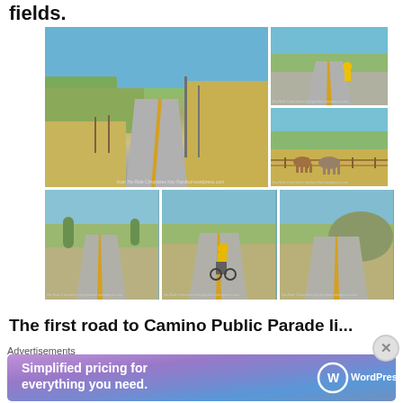fields.
[Figure (photo): A collage of 5 road photos showing rural roads with yellow center lines, a cyclist in a yellow jersey, horses in a field, and rolling countryside under blue skies.]
The first road to Camino Public Parade li...
Advertisements
[Figure (other): WordPress.com advertisement banner reading 'Simplified pricing for everything you need.' with WordPress.com logo]